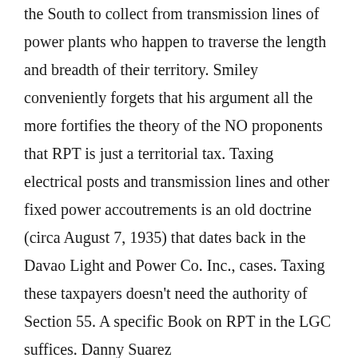the South to collect from transmission lines of power plants who happen to traverse the length and breadth of their territory. Smiley conveniently forgets that his argument all the more fortifies the theory of the NO proponents that RPT is just a territorial tax. Taxing electrical posts and transmission lines and other fixed power accoutrements is an old doctrine (circa August 7, 1935) that dates back in the Davao Light and Power Co. Inc., cases. Taxing these taxpayers doesn't need the authority of Section 55. A specific Book on RPT in the LGC suffices. Danny Suarez